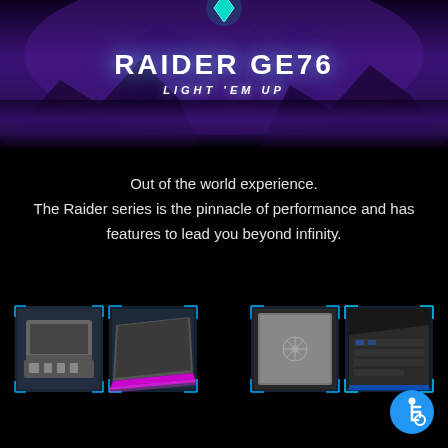[Figure (illustration): Dark purple mountain landscape banner background with glowing teal/green diamond shape at top center, misty atmospheric lighting]
RAIDER GE76
LIGHT 'EM UP
Out of the world experience.
The Raider series is the pinnacle of performance and has features to lead you beyond infinity.
[Figure (photo): Four laptop product photos arranged in two pairs: left pair shows laptop ports/side view and laptop with pink/magenta RGB light strip; right pair shows laptop lid with dragon logo and laptop keyboard with blue RGB lighting]
[Figure (illustration): Blue accessibility wheelchair icon on circular blue button, bottom right corner]